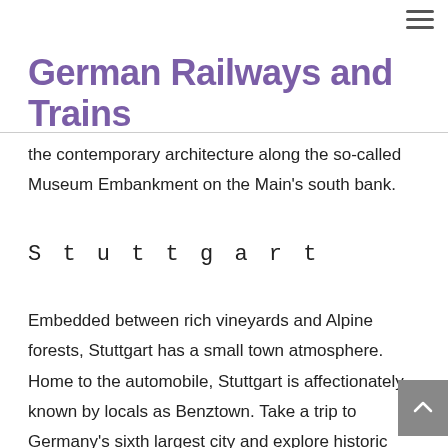≡
German Railways and Trains
the contemporary architecture along the so-called Museum Embankment on the Main's south bank.
Stuttgart
Embedded between rich vineyards and Alpine forests, Stuttgart has a small town atmosphere. Home to the automobile, Stuttgart is affectionately known by locals as Benztown. Take a trip to Germany's sixth largest city and explore historic monuments, museums and classic architecture.